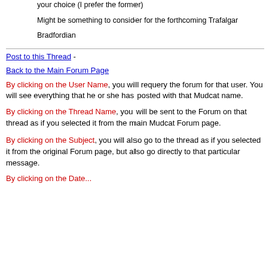your choice (I prefer the former)
Might be something to consider for the forthcoming Trafalgar
Bradfordian
Post to this Thread -
Back to the Main Forum Page
By clicking on the User Name, you will requery the forum for that user. You will see everything that he or she has posted with that Mudcat name.
By clicking on the Thread Name, you will be sent to the Forum on that thread as if you selected it from the main Mudcat Forum page.
By clicking on the Subject, you will also go to the thread as if you selected it from the original Forum page, but also go directly to that particular message.
By clicking on the Date...